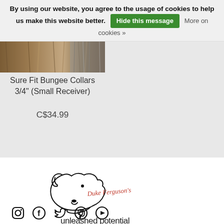By using our website, you agree to the usage of cookies to help us make this website better. Hide this message  More on cookies »
[Figure (photo): Close-up photo of dog collar material — brown/grey braided or woven fabric texture]
Sure Fit Bungee Collars 3/4" (Small Receiver)
C$34.99
[Figure (logo): Duke Ferguson's Unleashed Potential logo — line drawing of a dog head profile with script text 'Duke Ferguson's' in red and 'unleashed potential' in black below]
[Figure (other): Social media icons row: Instagram, Facebook, Twitter, Pinterest, YouTube]